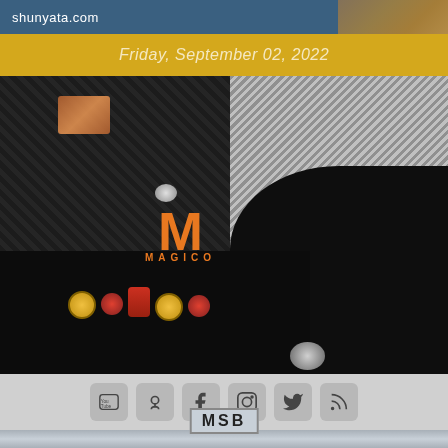shunyata.com
Friday, September 02, 2022
[Figure (photo): Close-up product photo of Magico high-end audio speaker showing carbon fiber cabinet, copper badge, binding posts, and sleek curved design. Magico logo in orange visible in center.]
[Figure (logo): Social media icons: YouTube, Podcast, Facebook, Instagram, Twitter, RSS feed]
[Figure (logo): MSB logo at bottom of page]